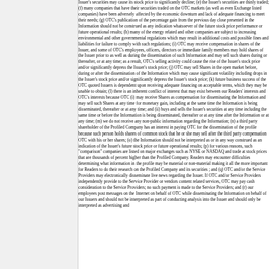Issuer's securities may cause its stock price to significantly decline; (e) the Issuer's securities are thinly traded; (f) many companies that have their securities traded on the OTC markets (as well as even Exchange listed companies) have been adversely affected by the economic downturn and lack of adequate financing to meet their needs; (g) OTC's publication of the percentage gain from the previous day close presented in the Information should not be construed as any indication whatsoever of the future stock price performance or future operational results; (h) many of the energy related and other companies are subject to increasing environmental and other governmental regulations which may result in additional costs and possible fines and liabilities for failure to comply with such regulations; (i) OTC may receive compensation in shares of the Issuer, and some of OTC's employees, officers, directors or immediate family members may hold shares of the Issuer prior to as well as during the dissemination of such Information and may sell such shares during or thereafter, or at any time; as a result, OTC's selling activity could cause the rise of the Issuer's stock price and/or significantly depress the Issuer's stock price; (j) OTC may sell Shares in the open market before, during or after the dissemination of the Information which may cause significant volatility including drops in the Issuer's stock price and/or significantly depress the Issuer's stock price; (k) future business success of the OTC quoted Issuers is dependent upon receiving adequate financing on acceptable terms, which they may be unable to obtain; (l) there is an inherent conflict of interest that may exist between our Readers' interests and OTC's interests because OTC (i) may receive Shares as compensation for disseminating the Information and may sell such Shares at any time for monetary gain, including at the same time the Information is being disseminated, thereafter or at any time; and (ii) buys and sells the Issuer's securities at any time including the same time or before the Information is being disseminated, thereafter or at any time after the Information or at any time; (m) we do not receive any non-public information regarding the Information; (n) a third party shareholder of the Profiled Company has an interest in paying OTC for the dissemination of the profile because such person holds shares of common stock that he or she may sell after the third party compensation OTC with his or her shares; (o) the Information should not be interpreted as or in any way construed as an indication of the Issuer's future stock price or future operational results; (p) for various reasons, such "comparison" companies are listed on major exchanges such as NYSE or NASDAQ and trade at stock prices that are thousands of percent higher than the Profiled Company. Readers may encounter difficulties determining what information in the profile may be material or non-material making it all the more important for Readers to do their research on the Profiled Company and its securities ; and (q) OTC and/or the Service Providers may electronically disseminate live news regarding the Issuer. If OTC and/or Service Providers independently provide to the Service Provider or vendors content related services, OTC may pay cash consideration to the Service Providers; no such payment is made to the Service Providers; and (r) our employees post messages on the Internet on behalf of OTC while disseminating the Information on behalf of our Issuers and should not be interpreted as part of conducting analysis into the Issuer and should only be interpreted as advertising and